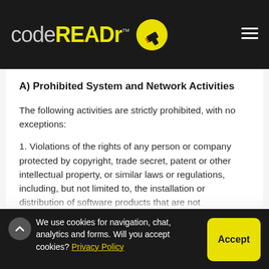codeREADr™ [logo with barcode scanner icon] [hamburger menu]
A) Prohibited System and Network Activities
The following activities are strictly prohibited, with no exceptions:
1. Violations of the rights of any person or company protected by copyright, trade secret, patent or other intellectual property, or similar laws or regulations, including, but not limited to, the installation or distribution of software products that are not appropriately
We use cookies for navigation, chat, analytics and forms. Will you accept cookies? Privacy Policy [Accept button]